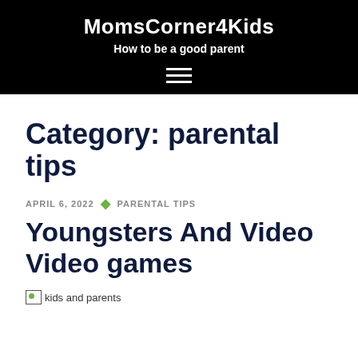MomsCorner4Kids
How to be a good parent
Category: parental tips
APRIL 6, 2022 · PARENTAL TIPS
Youngsters And Video Video games
[Figure (photo): kids and parents (broken/missing image placeholder)]